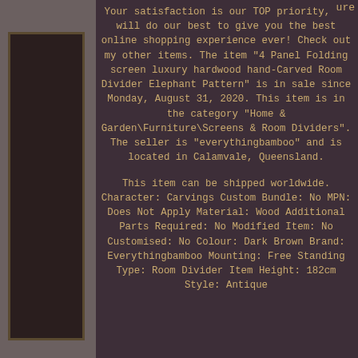Your satisfaction is our TOP priority, we will do our best to give you the best online shopping experience ever! Check out my other items. The item "4 Panel Folding screen luxury hardwood hand-Carved Room Divider Elephant Pattern" is in sale since Monday, August 31, 2020. This item is in the category "Home & Garden\Furniture\Screens & Room Dividers". The seller is "everythingbamboo" and is located in Calamvale, Queensland.
This item can be shipped worldwide. Character: Carvings Custom Bundle: No MPN: Does Not Apply Material: Wood Additional Parts Required: No Modified Item: No Customised: No Colour: Dark Brown Brand: Everythingbamboo Mounting: Free Standing Type: Room Divider Item Height: 182cm Style: Antique